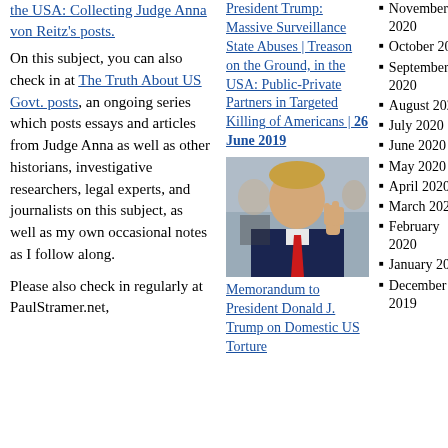the USA: Collecting Judge Anna von Reitz's posts.
On this subject, you can also check in at The Truth About US Govt. posts, an ongoing series which posts essays and articles from Judge Anna as well as other historians, investigative researchers, legal experts, and journalists on this subject, as well as my own occasional notes as I follow along.
Please also check in regularly at PaulStramer.net,
President Trump: Massive Surveillance State Abuses | Treason on the Ground, in the USA: Public-Private Partners in Targeted Killing of Americans | 26 June 2019
[Figure (photo): Photo of President Donald Trump raising his right hand, appearing to take an oath, wearing a dark suit and red tie, with other people in the background.]
Memorandum to President Donald J. Trump on Domestic US Torture
November 2020
October 2020
September 2020
August 2020
July 2020
June 2020
May 2020
April 2020
March 2020
February 2020
January 2020
December 2019